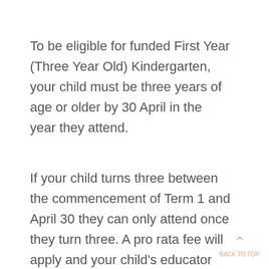To be eligible for funded First Year (Three Year Old) Kindergarten, your child must be three years of age or older by 30 April in the year they attend.
If your child turns three between the commencement of Term 1 and April 30 they can only attend once they turn three. A pro rata fee will apply and your child's educator will discuss an individual orientation schedule with you where you will be able to visit the kindergarten for short periods of time and parent/guardian must remain with child for visits.